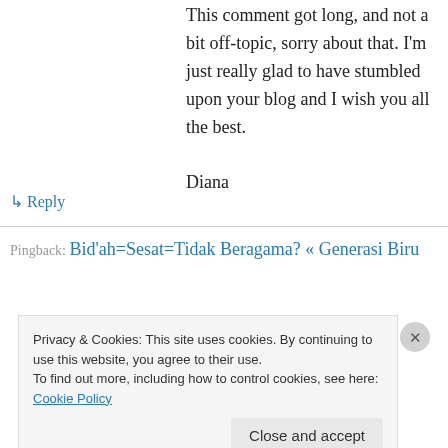This comment got long, and not a bit off-topic, sorry about that. I'm just really glad to have stumbled upon your blog and I wish you all the best.

Diana
↳ Reply
Pingback: Bid'ah=Sesat=Tidak Beragama? « Generasi Biru
Privacy & Cookies: This site uses cookies. By continuing to use this website, you agree to their use.
To find out more, including how to control cookies, see here: Cookie Policy

Close and accept